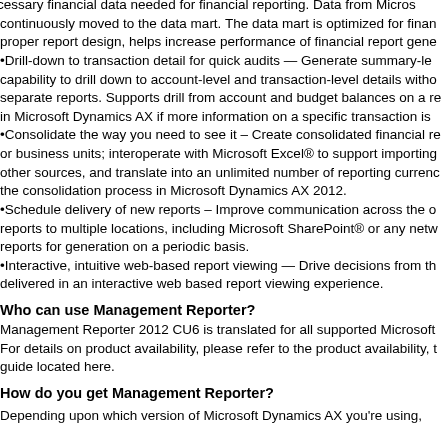necessary financial data needed for financial reporting. Data from Microsoft continuously moved to the data mart. The data mart is optimized for financial proper report design, helps increase performance of financial report gene
Drill-down to transaction detail for quick audits — Generate summary-level capability to drill down to account-level and transaction-level details without separate reports. Supports drill from account and budget balances on a report in Microsoft Dynamics AX if more information on a specific transaction is
Consolidate the way you need to see it – Create consolidated financial reports or business units; interoperate with Microsoft Excel® to support importing other sources, and translate into an unlimited number of reporting currencies the consolidation process in Microsoft Dynamics AX 2012.
Schedule delivery of new reports – Improve communication across the organization reports to multiple locations, including Microsoft SharePoint® or any network reports for generation on a periodic basis.
Interactive, intuitive web-based report viewing — Drive decisions from the data delivered in an interactive web based report viewing experience.
Who can use Management Reporter?
Management Reporter 2012 CU6 is translated for all supported Microsoft For details on product availability, please refer to the product availability, guide located here.
How do you get Management Reporter?
Depending upon which version of Microsoft Dynamics AX you're using,